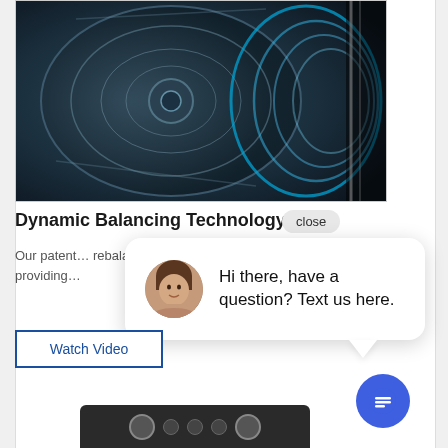[Figure (photo): Close-up product photo of a washing machine drum interior with x-ray/technical overlay showing internal balancing mechanism. Dark blue tones with glowing blue circular rings on the right side.]
Dynamic Balancing Technology (dB…
Our patent… rebalances… providing…
[Figure (screenshot): Chat popup overlay with close button, showing a female customer service avatar and the message: Hi there, have a question? Text us here.]
Watch Video
[Figure (photo): Bottom portion of a dark-colored washing machine appliance control panel visible at the bottom of the page.]